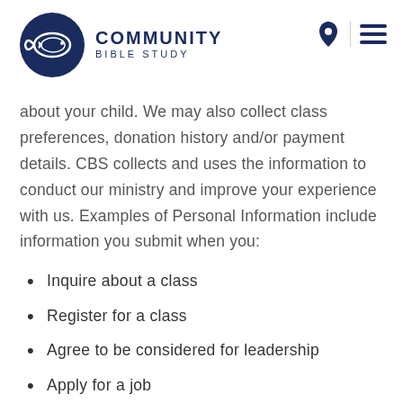Community Bible Study
about your child. We may also collect class preferences, donation history and/or payment details. CBS collects and uses the information to conduct our ministry and improve your experience with us. Examples of Personal Information include information you submit when you:
Inquire about a class
Register for a class
Agree to be considered for leadership
Apply for a job
Make a donation